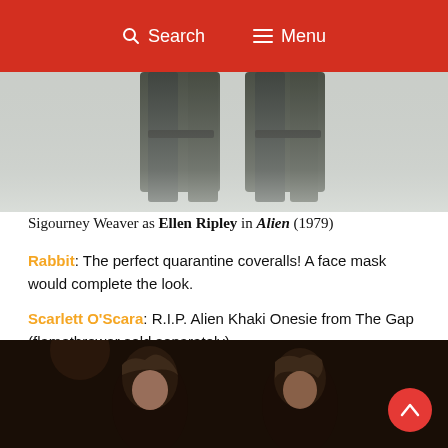Search  Menu
[Figure (photo): Cropped photo showing lower half of a figure in dark khaki/olive coveralls against a light background — Sigourney Weaver as Ellen Ripley in Alien (1979)]
Sigourney Weaver as Ellen Ripley in Alien (1979)
Rabbit: The perfect quarantine coveralls! A face mask would complete the look.
Scarlett O'Scara: R.I.P. Alien Khaki Onesie from The Gap (flamethrower sold separately).
Phantom of the Mall: You may look cool in a jumpsuit but you'll never be as cool as Sigourney Weaver in a jumpsuit.
[Figure (photo): Dark-toned film still showing two people, appears to be a scene from a movie — cropped at bottom of page]